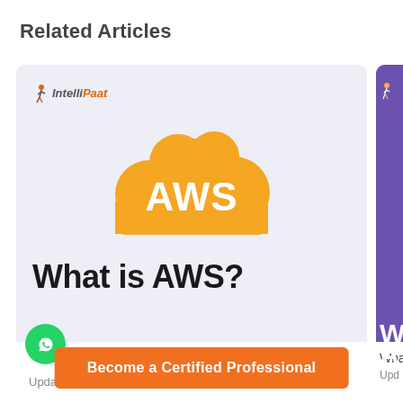Related Articles
[Figure (screenshot): IntelliPaat article card showing AWS cloud logo (orange cloud with 'AWS' text) on a lavender background, with title 'What is AWS?' in bold black text, and a partially visible second purple card beside it.]
What is AWS?
Updated on: Jun 07, 2022
Wha
Upd
Become a Certified Professional